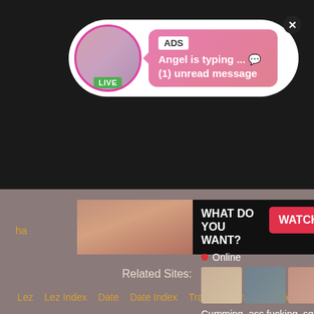[Figure (screenshot): Adult advertisement notification bubble with avatar, LIVE badge, ADS label, text 'Angel is typing ... (1) unread message', and close button]
[Figure (screenshot): Adult advertisement panel showing: left side image, right side with 'WHAT DO YOU WANT?' heading, pink WATCH button, Online indicator, thumbnail images, text 'Cumming, ass fucking, squirt or...' and ADS label. HD badge visible on left.]
Related Sites:
Lez  Lez Index  Date  Date Index  Transex  Transex Index